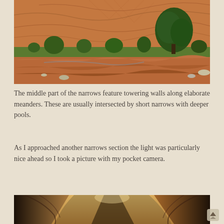[Figure (photo): Landscape photo of red sandstone canyon walls with green trees and shrubs, looking across rocky terrain with layered red rock formations in the background.]
The middle part of the narrows feature towering walls along elaborate meanders. These are usually intersected by short narrows with deeper pools.
As I approached another narrows section the light was particularly nice ahead so I took a picture with my pocket camera.
[Figure (photo): Photo looking up through a narrow slot canyon with towering golden and brown sandstone walls rising high above, with a sliver of light visible at the top.]